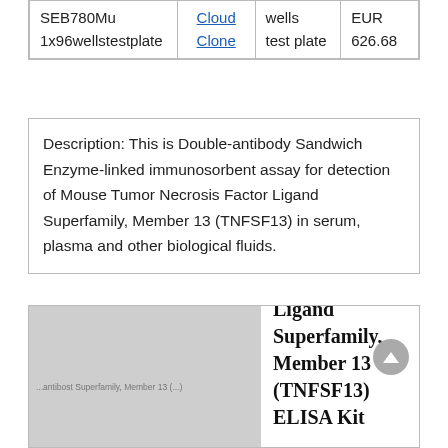| Product | Brand | Spec | Price |
| --- | --- | --- | --- |
| SEB780Mu 1x96wellstestplate | Cloud Clone | wells test plate | EUR 626.68 |
Description: This is Double-antibody Sandwich Enzyme-linked immunosorbent assay for detection of Mouse Tumor Necrosis Factor Ligand Superfamily, Member 13 (TNFSF13) in serum, plasma and other biological fluids.
[Figure (photo): Product image placeholder for Mouse Tumor Necrosis Factor Ligand Superfamily, Member 13 ELISA Kit with watermark text]
Mouse Tumor Necrosis Factor Ligand Superfamily, Member 13 (TNFSF13) ELISA Kit